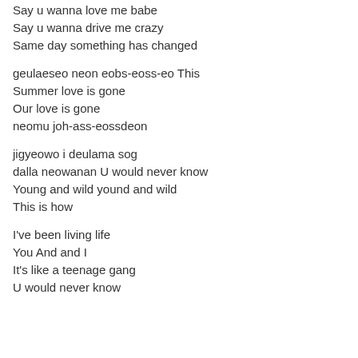Say u wanna love me babe
Say u wanna drive me crazy
Same day something has changed
geulaeseo neon eobs-eoss-eo This
Summer love is gone
Our love is gone
neomu joh-ass-eossdeon
jigyeowo i deulama sog
dalla neowanan U would never know
Young and wild yound and wild
This is how
I've been living life
You And and I
It's like a teenage gang
U would never know